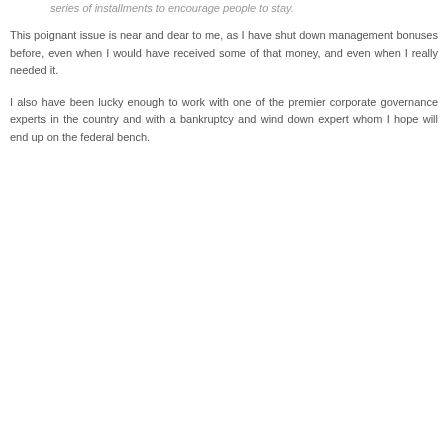series of installments to encourage people to stay.
This poignant issue is near and dear to me, as I have shut down management bonuses before, even when I would have received some of that money, and even when I really needed it.
I also have been lucky enough to work with one of the premier corporate governance experts in the country and with a bankruptcy and wind down expert whom I hope will end up on the federal bench.